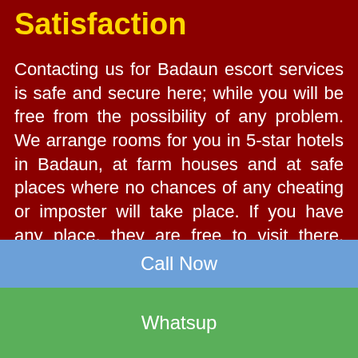Satisfaction
Contacting us for Badaun escort services is safe and secure here; while you will be free from the possibility of any problem. We arrange rooms for you in 5-star hotels in Badaun, at farm houses and at safe places where no chances of any cheating or imposter will take place. If you have any place, they are free to visit there. However, they also expect safety from your side too. They will be your true partner at the time of sexual fantasy and to provide you the real pleasure of your life that you will hardly get from anywhere else.
Call Now
Whatsup